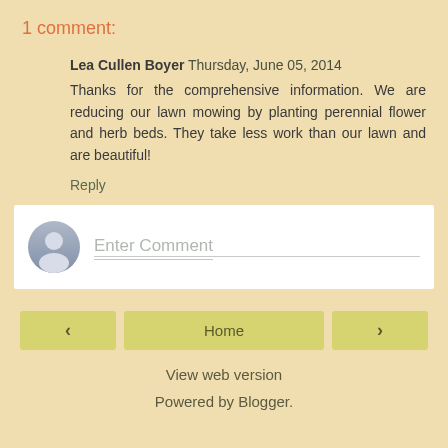1 comment:
Lea Cullen Boyer  Thursday, June 05, 2014
Thanks for the comprehensive information. We are reducing our lawn mowing by planting perennial flower and herb beds. They take less work than our lawn and are beautiful!
Reply
[Figure (screenshot): Comment input area with avatar silhouette icon and 'Enter Comment' placeholder text field]
Home
View web version
Powered by Blogger.